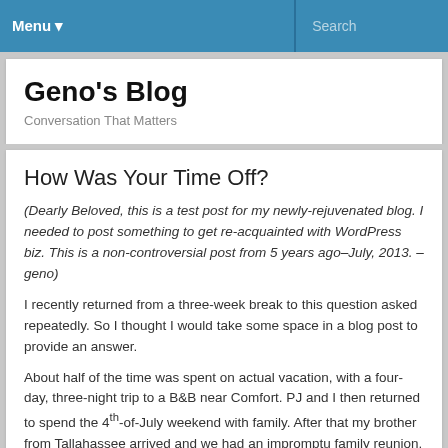Menu ▾   Search
Geno's Blog
Conversation That Matters
How Was Your Time Off?
(Dearly Beloved, this is a test post for my newly-rejuvenated blog.  I needed to post something to get re-acquainted with WordPress biz.  This is a non-controversial post from 5 years ago–July, 2013.  –geno)
I recently returned from a three-week break to this question asked repeatedly.  So I thought I would take some space in a blog post to provide an answer.
About half of the time was spent on actual vacation, with a four-day, three-night trip to a B&B near Comfort.  PJ and I then returned to spend the 4th-of-July weekend with family.  After that my brother from Tallahassee arrived and we had an impromptu family reunion.